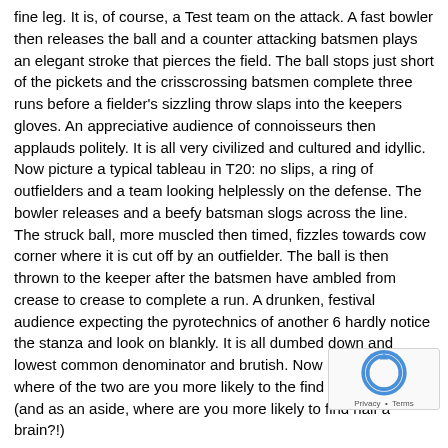fine leg. It is, of course, a Test team on the attack. A fast bowler then releases the ball and a counter attacking batsmen plays an elegant stroke that pierces the field. The ball stops just short of the pickets and the crisscrossing batsmen complete three runs before a fielder's sizzling throw slaps into the keepers gloves. An appreciative audience of connoisseurs then applauds politely. It is all very civilized and cultured and idyllic. Now picture a typical tableau in T20: no slips, a ring of outfielders and a team looking helplessly on the defense. The bowler releases and a beefy batsman slogs across the line. The struck ball, more muscled then timed, fizzles towards cow corner where it is cut off by an outfielder. The ball is then thrown to the keeper after the batsmen have ambled from crease to crease to complete a run. A drunken, festival audience expecting the pyrotechnics of another 6 hardly notice the stanza and look on blankly. It is all dumbed down and lowest common denominator and brutish. Now I ask you, where of the two are you more likely to the find the exquisite? (and as an aside, where are you more likely to find half a brain?!)
Textbook shots, when played by the finest batsmen are of endless wonder. I never tire of their nuance and charm. I also love how they are part of cricket's etiquette. If the ball is pitched up, you play off the front foot. If it is short, you play off the back. There is an appropriate shot for every b. There is an order. "Akram pitches it short and Laxman rocks back a sweetly. What a gorgeous shot! Now back to Kerry's ramblings."
The game has evolved the off drive, the on drive and the straight drive. It